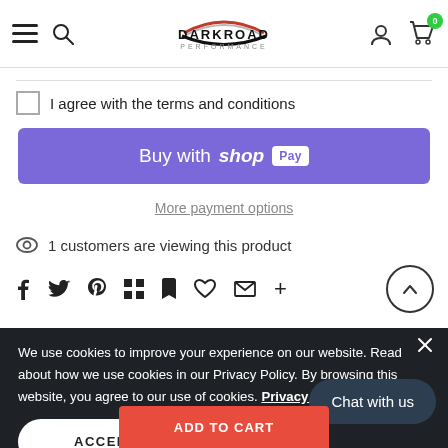DarkRoad Performance — navigation header with hamburger menu, search, logo, user icon, cart (0)
I agree with the terms and conditions
[Figure (screenshot): Buy with Shop Pay button — purple rounded rectangle]
More payment options
1 customers are viewing this product
Social share icons: Facebook, Twitter, Pinterest, Google+, Fancy, Fancy, Email, More
We use cookies to improve your experience on our website. Read about how we use cookies in our Privacy Policy. By browsing this website, you agree to our use of cookies. Privacy Policy
ACCEPT
Chat with us
ADD TO CART